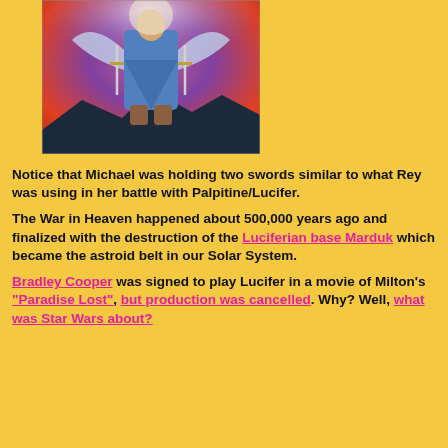[Figure (illustration): Painting of Archangel Michael in blue robes standing over dark mountains with fiery red and purple sky background]
Notice that Michael was holding two swords similar to what Rey was using in her battle with Palpitine/Lucifer.
The War in Heaven happened about 500,000 years ago and finalized with the destruction of the Luciferian base Marduk which became the astroid belt in our Solar System.
Bradley Cooper was signed to play Lucifer in a movie of Milton's "Paradise Lost", but production was cancelled. Why? Well, what was Star Wars about?